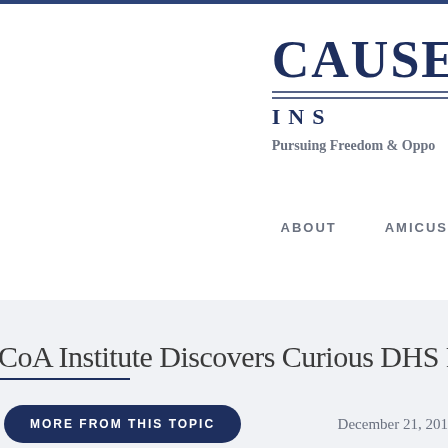[Figure (logo): Cause of Action Institute logo with text 'CAUSE' in large serif, double lines, 'INS' subtitle, and tagline 'Pursuing Freedom & Oppo...']
ABOUT    AMICUS
CoA Institute Discovers Curious DHS FOIA N
MORE FROM THIS TOPIC
December 21, 201